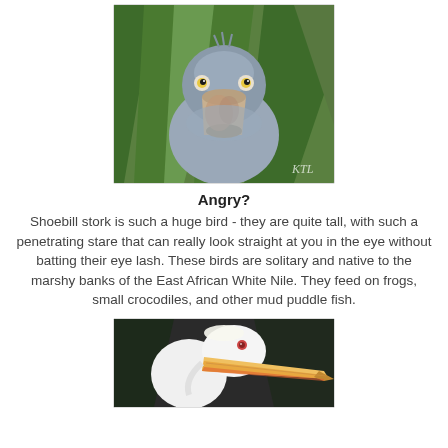[Figure (photo): Close-up front-facing photo of a Shoebill stork with a large beak, grey plumage, and green foliage background. Watermark 'KTL' in lower right.]
Angry?
Shoebill stork is such a huge bird - they are quite tall, with such a penetrating stare that can really look straight at you in the eye without batting their eye lash. These birds are solitary and native to the marshy banks of the East African White Nile. They feed on frogs, small crocodiles, and other mud puddle fish.
[Figure (photo): Side profile photo of a white pelican with a large orange-tipped beak against a dark background.]